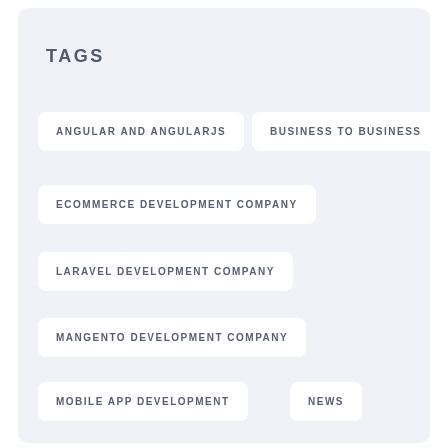TAGS
ANGULAR AND ANGULARJS
BUSINESS TO BUSINESS
ECOMMERCE DEVELOPMENT COMPANY
LARAVEL DEVELOPMENT COMPANY
MANGENTO DEVELOPMENT COMPANY
MOBILE APP DEVELOPMENT
NEWS
PHP DEVELOPMENT COMPANY
REACT
REACT NATIVE
SEO AUDIT